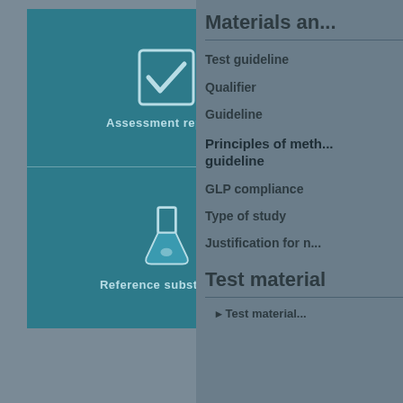[Figure (illustration): Teal blue box with two sections: top section shows a checkmark icon with label 'Assessment reports', bottom section shows a laboratory flask icon with label 'Reference substances']
Materials an...
Test guideline
Qualifier
Guideline
Principles of meth... guideline
GLP compliance
Type of study
Justification for n...
Test material
Test material...